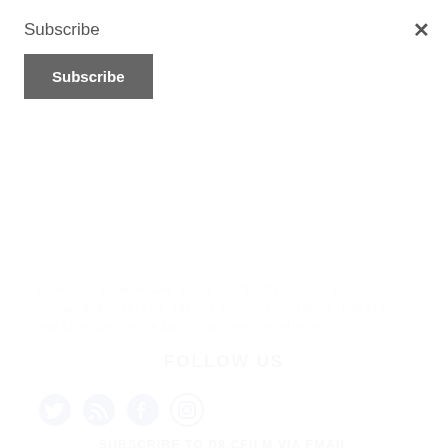Subscribe
Subscribe (button)
DANCES, LEE MORGAN, MOREL, SCREEN, SHOWCASE, SHOWCASED, TALENT, TALENT SHOWCASE, TANYA, THEATRE, THEATRE GROUP, TRANSITION, VIEW FROM HERE
FOLLOW US
[Figure (illustration): Social media icons for Twitter, RSS, Facebook, and Instagram in dark navy blue]
SUBSCRIBE TO D8.CFILM VIA EMAIL